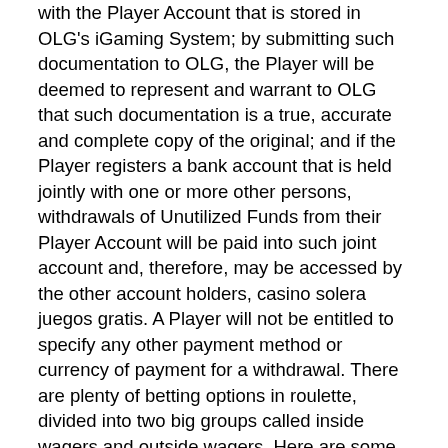with the Player Account that is stored in OLG's iGaming System; by submitting such documentation to OLG, the Player will be deemed to represent and warrant to OLG that such documentation is a true, accurate and complete copy of the original; and if the Player registers a bank account that is held jointly with one or more other persons, withdrawals of Unutilized Funds from their Player Account will be paid into such joint account and, therefore, may be accessed by the other account holders, casino solera juegos gratis. A Player will not be entitled to specify any other payment method or currency of payment for a withdrawal. There are plenty of betting options in roulette, divided into two big groups called inside wagers and outside wagers. Here are some more details about both: Inside Wagers: Straight Up: pick any number on the board and place a wager that the ball will hit it, free spins no deposit fair go bitcoin casino.